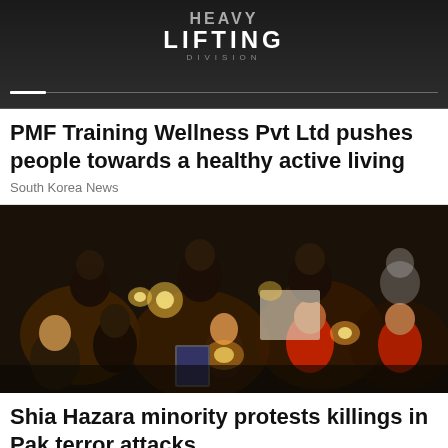[Figure (photo): Top portion of a fitness/heavy lifting themed image with dark background and text 'HEAVY LIFTING DIVISION']
PMF Training Wellness Pvt Ltd pushes people towards a healthy active living
South Korea News
[Figure (photo): People including children holding candles and signs in a night-time protest vigil, likely Shia Hazara community mourning terror attack victims in Pakistan]
Shia Hazara minority protests killings in Pak terror attacks